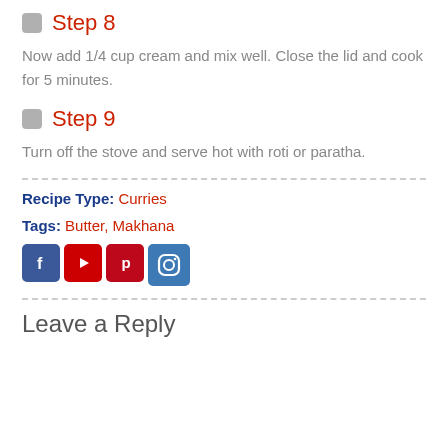Step 8
Now add 1/4 cup cream and mix well. Close the lid and cook for 5 minutes.
Step 9
Turn off the stove and serve hot with roti or paratha.
Recipe Type: Curries
Tags: Butter, Makhana
[Figure (other): Social media share icons: Facebook, YouTube, Pinterest, Instagram]
Leave a Reply